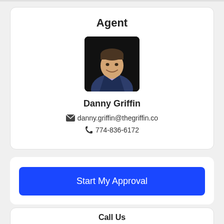Agent
[Figure (photo): Professional headshot of Danny Griffin, a man in a suit jacket with a checkered shirt, smiling, on a dark background]
Danny Griffin
danny.griffin@thegriffin.co
774-836-6172
Start My Approval
Call Us